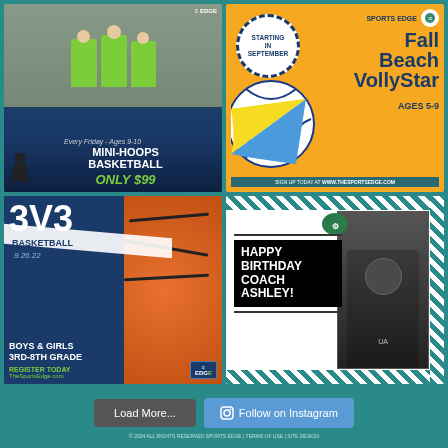[Figure (photo): Mini-Hoops Basketball promotional image. Shows three boys in green Sports Edge shirts. Text: 'Every Friday - Ages 9-10', 'MINI-HOOPS BASKETBALL', 'ONLY $99']
[Figure (photo): Sports Edge Fall Beach VollyStar promotional image on orange background. Shows volleyball. Text: 'STARTING IN SEPTEMBER', 'SPORTS EDGE', 'Fall Beach VollyStar', 'AGES 5-9', 'SIGN UP TODAY AT WWW.THESPORTSEDGE.COM']
[Figure (photo): 3v3 Basketball event promotional image on navy/orange background. Text: '3V3', 'BASKETBALL', '9.26.22', 'BOYS & GIRLS', '3RD-8TH GRADE', 'REGISTER TODAY', 'TheSportsEdge.com']
[Figure (photo): Happy Birthday Coach Ashley image. Shows coach photo on right with teal diagonal stripe border. Black box with white text: 'HAPPY BIRTHDAY COACH ASHLEY!']
Load More...
Follow on Instagram
© 2024 ALL RIGHTS RESERVED SPORTS EDGE | TERMS OF USE | SITE DESIGN